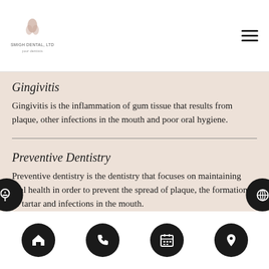SMIGH DENTAL, LTD
Gingivitis
Gingivitis is the inflammation of gum tissue that results from plaque, other infections in the mouth and poor oral hygiene.
Preventive Dentistry
Preventive dentistry is the dentistry that focuses on maintaining oral health in order to prevent the spread of plaque, the formation of tartar and infections in the mouth.
Navigation: Home, Phone, Calendar, Location